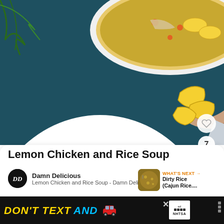[Figure (photo): Two white bowls of Lemon Chicken and Rice Soup on a dark blue background with fresh dill, lemon slices, and a hand holding one bowl. The soup contains shredded chicken, diced carrots, rice, and herbs.]
Lemon Chicken and Rice Soup
Damn Delicious
Lemon Chicken and Rice Soup - Damn Delicious
WHAT'S NEXT → Dirty Rice (Cajun Rice....
[Figure (screenshot): Cookies advertisement banner partially visible]
[Figure (infographic): DON'T TEXT AND [car emoji] advertisement banner at bottom with NHTSA branding. Yellow text DON'T TEXT, cyan text AND, red car emoji.]